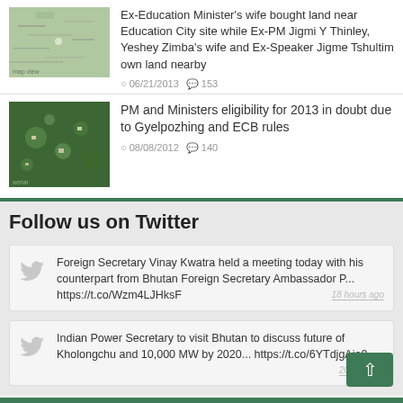Ex-Education Minister's wife bought land near Education City site while Ex-PM Jigmi Y Thinley, Yeshey Zimba's wife and Ex-Speaker Jigme Tshultim own land nearby
06/21/2013  153
PM and Ministers eligibility for 2013 in doubt due to Gyelpozhing and ECB rules
08/08/2012  140
Follow us on Twitter
Foreign Secretary Vinay Kwatra held a meeting today with his counterpart from Bhutan Foreign Secretary Ambassador P... https://t.co/Wzm4LJHksF
18 hours ago
Indian Power Secretary to visit Bhutan to discuss future of Kholongchu and 10,000 MW by 2020... https://t.co/6YTdjgAjo0
2022/02/22